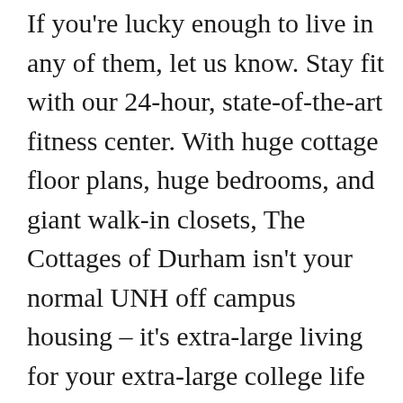If you're lucky enough to live in any of them, let us know. Stay fit with our 24-hour, state-of-the-art fitness center. With huge cottage floor plans, huge bedrooms, and giant walk-in closets, The Cottages of Durham isn't your normal UNH off campus housing – it's extra-large living for your extra-large college life at the University of New Hampshire. Explore Cottages for sale as well! Looking for more real estate to buy? You'll find a great choice of holiday cottages in Hampshire. 2. This cheery, mid-century, two-bedroom cottage is surrounded by trees, giving you a lovely view no matter the season—especially from the enclosed porch. You can choose from longer stays or short breaks in a fantastic location,